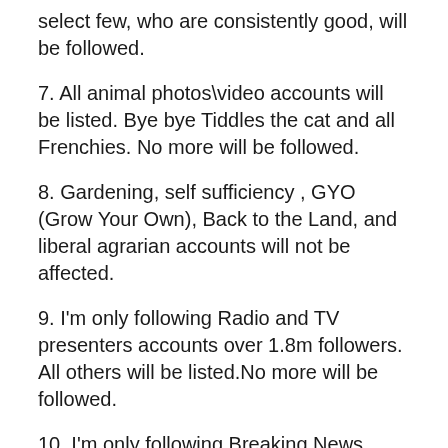select few, who are consistently good, will be followed.
7. All animal photos\video accounts will be listed. Bye bye Tiddles the cat and all Frenchies. No more will be followed.
8. Gardening, self sufficiency , GYO (Grow Your Own), Back to the Land, and liberal agrarian accounts will not be affected.
9. I'm only following Radio and TV presenters accounts over 1.8m followers. All others will be listed.No more will be followed.
10. I'm only following Breaking News accounts over 3.8m followers. All others will be listed. No more will be followed.
11. Tweeters that are only interested (or 90% of their tweets indicate this obsession), on Brexit and the Trump…